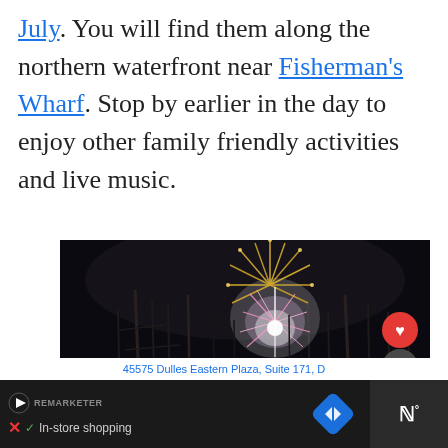July. You will find them along the northern waterfront near Fisherman's Wharf. Stop by earlier in the day to enjoy other family friendly activities and live music.
[Figure (photo): Night photo of fireworks exploding over a marina with sailboat masts silhouetted in the foreground, bright colorful burst of gold and pink fireworks against dark sky. UI overlays include a red heart button, a share button, and a 'What's Next' card showing San Francisco Events.]
45575 Dulles Eastern Plaza, Suite 171, D
✓ In-store shopping